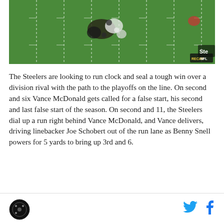[Figure (photo): Aerial/broadcast view of an NFL football game on a green field with yard lines, players in action, Pittsburgh Steelers vs Cleveland Browns. NFL network/RECAP logo visible in bottom right corner.]
The Steelers are looking to run clock and seal a tough win over a division rival with the path to the playoffs on the line. On second and six Vance McDonald gets called for a false start, his second and last false start of the season. On second and 11, the Steelers dial up a run right behind Vance McDonald, and Vance delivers, driving linebacker Joe Schobert out of the run lane as Benny Snell powers for 5 yards to bring up 3rd and 6.